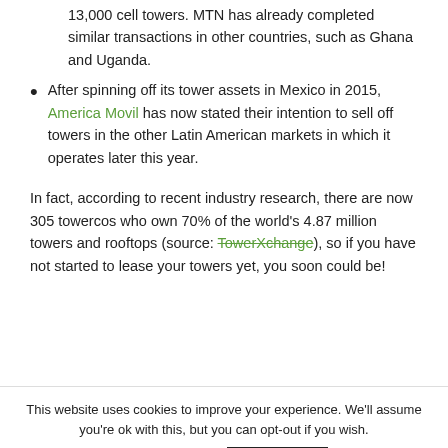13,000 cell towers. MTN has already completed similar transactions in other countries, such as Ghana and Uganda.
After spinning off its tower assets in Mexico in 2015, America Movil has now stated their intention to sell off towers in the other Latin American markets in which it operates later this year.
In fact, according to recent industry research, there are now 305 towercos who own 70% of the world's 4.87 million towers and rooftops (source: TowerXchange), so if you have not started to lease your towers yet, you soon could be!
This website uses cookies to improve your experience. We'll assume you're ok with this, but you can opt-out if you wish.
Cookie settings   ACCEPT